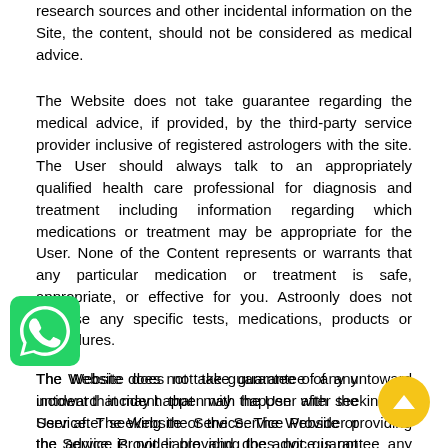research sources and other incidental information on the Site, the content, should not be considered as medical advice.
The Website does not take guarantee regarding the medical advice, if provided, by the third-party service provider inclusive of registered astrologers with the site. The User should always talk to an appropriately qualified health care professional for diagnosis and treatment including information regarding which medications or treatment may be appropriate for the User. None of the Content represents or warrants that any particular medication or treatment is safe, appropriate, or effective for you. Astroonly does not endorse any specific tests, medications, products or procedures.
[Figure (logo): WhatsApp green logo icon]
The Website does not take guarantee of any untoward incident that may happen with the User after seeking the Service. The Website or the Service Provider providing the advice is not liable and does not guarantee any results as expected by the User and accessing Website in such scenario is purely at the risk of the User.